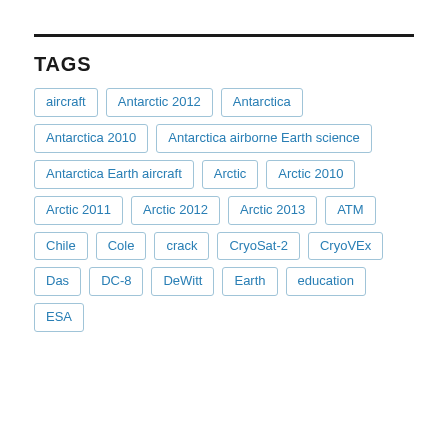TAGS
aircraft
Antarctic 2012
Antarctica
Antarctica 2010
Antarctica airborne Earth science
Antarctica Earth aircraft
Arctic
Arctic 2010
Arctic 2011
Arctic 2012
Arctic 2013
ATM
Chile
Cole
crack
CryoSat-2
CryoVEx
Das
DC-8
DeWitt
Earth
education
ESA